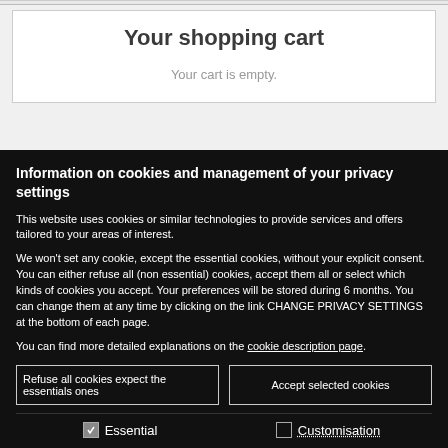Your shopping cart
Your cart is empty.
Information on cookies and management of your privacy settings
This website uses cookies or similar technologies to provide services and offers tailored to your areas of interest.
We won't set any cookie, except the essential cookies, without your explicit consent. You can either refuse all (non essential) cookies, accept them all or select which kinds of cookies you accept. Your preferences will be stored during 6 months. You can change them at any time by clicking on the link CHANGE PRIVACY SETTINGS at the bottom of each page.
You can find more detailed explanations on the cookie description page.
Refuse all cookies expect the essentials ones
Accept selected cookies
Essential
Customisation